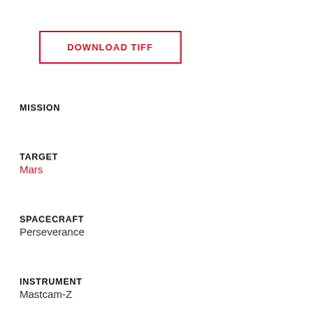DOWNLOAD TIFF
MISSION
TARGET
Mars
SPACECRAFT
Perseverance
INSTRUMENT
Mastcam-Z
CREDIT